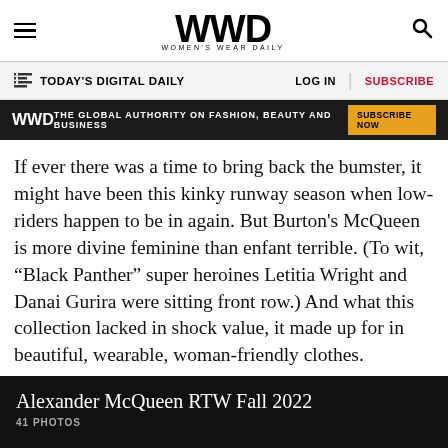WWD WOMEN'S WEAR DAILY
TODAY'S DIGITAL DAILY  LOG IN  SUBSCRIBE
WWD THE GLOBAL AUTHORITY ON FASHION, BEAUTY AND BUSINESS SUBSCRIBE NOW
If ever there was a time to bring back the bumster, it might have been this kinky runway season when low-riders happen to be in again. But Burton's McQueen is more divine feminine than enfant terrible. (To wit, “Black Panther” super heroines Letitia Wright and Danai Gurira were sitting front row.) And what this collection lacked in shock value, it made up for in beautiful, wearable, woman-friendly clothes.
Alexander McQueen RTW Fall 2022
41 PHOTOS